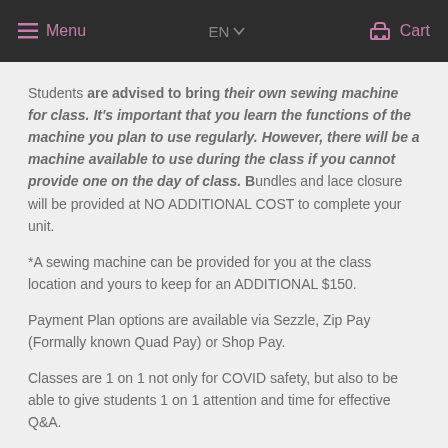Menu  EN  Cart
Students are advised to bring their own sewing machine for class. It's important that you learn the functions of the machine you plan to use regularly. However, there will be a machine available to use during the class if you cannot provide one on the day of class. Bundles and lace closure will be provided at NO ADDITIONAL COST to complete your unit.
*A sewing machine can be provided for you at the class location and yours to keep for an ADDITIONAL $150.
Payment Plan options are available via Sezzle, Zip Pay (Formally known Quad Pay) or Shop Pay.
Classes are 1 on 1 not only for COVID safety, but also to be able to give students 1 on 1 attention and time for effective Q&A.